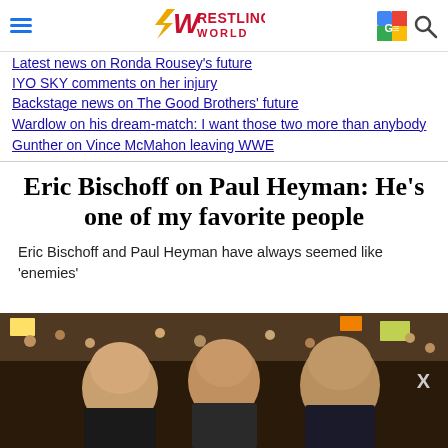Wrestling World
Latest news on Ronda Rousey's future
IYO SKY comments on her injury
Backstage news on The Good Brothers' future
Wardlow on his dream-match: I want those two more than anybody
Gunther on Vince McMahon leaving WWE
Eric Bischoff on Paul Heyman: He's one of my favorite people
Eric Bischoff and Paul Heyman have always seemed like 'enemies'
[Figure (photo): Photo of wrestlers/personalities at a WWE event with crowd in background]